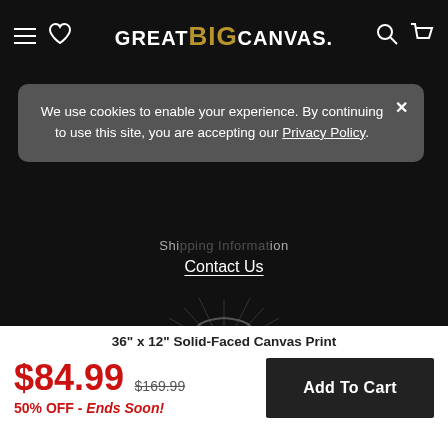GREAT BIG CANVAS.
We use cookies to enable your experience. By continuing to use this site, you are accepting our Privacy Policy.
Contact Us
[Figure (logo): 365 Workmanship Guarantee stamp/seal watermark on dark background]
36" x 12" Solid-Faced Canvas Print
$84.99  $169.99  50% OFF - Ends Soon!